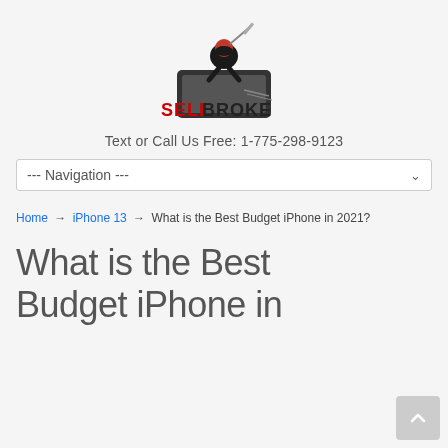[Figure (logo): SellBroke logo: ninja figure on a smartphone with red 'SELLBROKE' text]
Text or Call Us Free: 1-775-298-9123
--- Navigation ---
Home → iPhone 13 → What is the Best Budget iPhone in 2021?
What is the Best Budget iPhone in